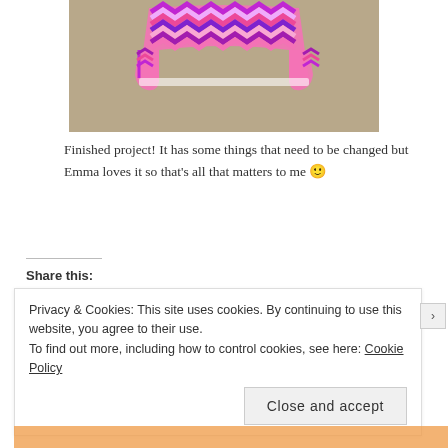[Figure (photo): A baby hat made from pink, purple, and white chevron/zigzag patterned fabric, laid flat on a tan/beige surface. The hat has ear flap-like extensions on the sides.]
Finished project! It has some things that need to be changed but Emma loves it so that's all that matters to me 🙂
Share this:
Privacy & Cookies: This site uses cookies. By continuing to use this website, you agree to their use.
To find out more, including how to control cookies, see here: Cookie Policy